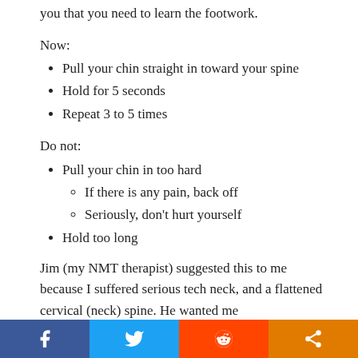you that you need to learn the footwork.
Now:
Pull your chin straight in toward your spine
Hold for 5 seconds
Repeat 3 to 5 times
Do not:
Pull your chin in too hard
If there is any pain, back off
Seriously, don't hurt yourself
Hold too long
Jim (my NMT therapist) suggested this to me because I suffered serious tech neck, and a flattened cervical (neck) spine. He wanted me